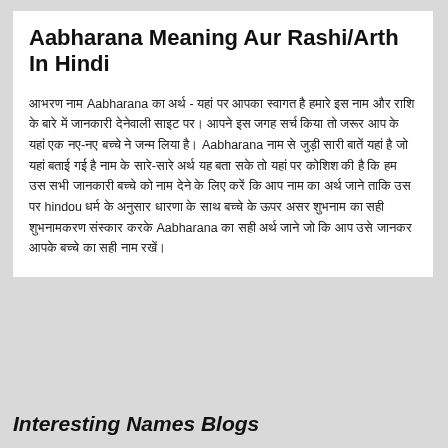Aabharana Meaning Aur Rashi/Arth In Hindi
आभरण नाम Aabharana का अर्थ - यहां पर आपका स्वागत है हमारे इस नाम और राशि के बारे में जानकारी देनेवाली साइट पर। आपने इस जगह सर्च किया तो जरूर आप के यहां एक नए-नए बच्चे ने जन्म लिया है। Aabharana नाम से जुड़ी सारी बातें यहां है जो यहां बताई गई है नाम के सारे-सारे अर्थ यह बता सके तो यहां पर कोशिश की है कि हम उस सभी जानकारी बच्चे को नाम देने के लिए करें कि आप नाम का अर्थ जाने ताकि उस पर hindou धर्म के अनुसार धारणा के साथ बच्चे के ऊपर असर शुभनाम का सही शुभनामकरण संस्कार करके Aabharana का सही अर्थ जाने जो कि आप उसे जानकर आपके बच्चे का सही नाम रखें।
Interesting Names Blogs